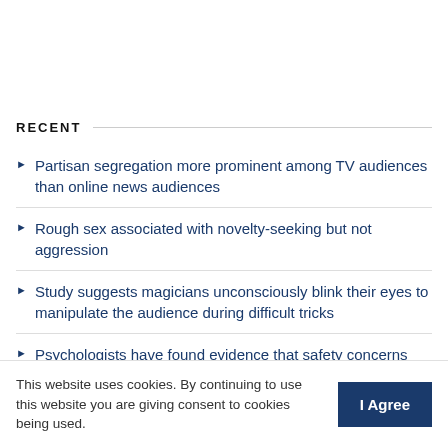RECENT
Partisan segregation more prominent among TV audiences than online news audiences
Rough sex associated with novelty-seeking but not aggression
Study suggests magicians unconsciously blink their eyes to manipulate the audience during difficult tricks
Psychologists have found evidence that safety concerns are an important predictor of ghosting
This website uses cookies. By continuing to use this website you are giving consent to cookies being used.